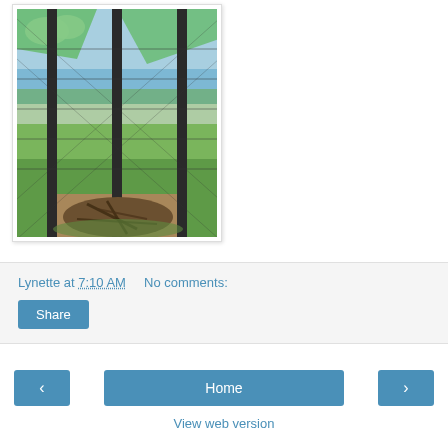[Figure (photo): Outdoor photo showing a wire fence with dark metal posts and green netting draped at the top, with a pile of debris/branches at the base, grassy field and water/trees in background under a blue sky]
Lynette at 7:10 AM   No comments:
Share
‹
Home
›
View web version